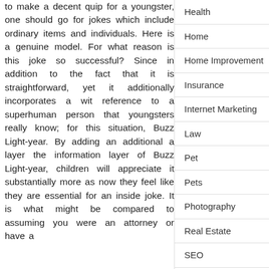to make a decent quip for a youngster, one should go for jokes which include ordinary items and individuals. Here is a genuine model. For what reason is this joke so successful? Since in addition to the fact that it is straightforward, yet it additionally incorporates a wit reference to a superhuman person that youngsters really know; for this situation, Buzz Light-year. By adding an additional a layer the information layer of Buzz Light-year, children will appreciate it substantially more as now they feel like they are essential for an inside joke. It is what might be compared to assuming you were an attorney or have a
Health
Home
Home Improvement
Insurance
Internet Marketing
Law
Pet
Pets
Photography
Real Estate
SEO